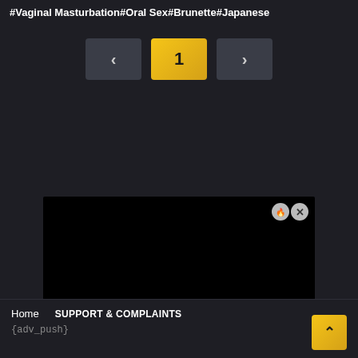# Vaginal Masturbation # Oral Sex # Brunette # Japanese
[Figure (screenshot): Pagination navigation row with left arrow button, current page button showing '1' in gold/yellow, and right arrow button on dark background]
[Figure (screenshot): Black advertisement area with close buttons in top-right corner and a 'SEE MORE' overlay with bracket corners in bottom-right]
Home   SUPPORT & COMPLAINTS   {adv_push}